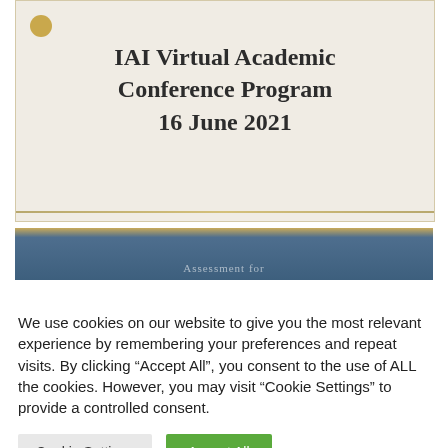[Figure (illustration): IAI Virtual Academic Conference Program cover card with beige/cream background, gold circle decoration, bold serif title text, and gold horizontal line at bottom]
IAI Virtual Academic Conference Program 16 June 2021
[Figure (screenshot): Partial image with dark blue/navy background and a gold top bar, partially visible text reading 'Assessment for' or similar]
We use cookies on our website to give you the most relevant experience by remembering your preferences and repeat visits. By clicking “Accept All”, you consent to the use of ALL the cookies. However, you may visit “Cookie Settings” to provide a controlled consent.